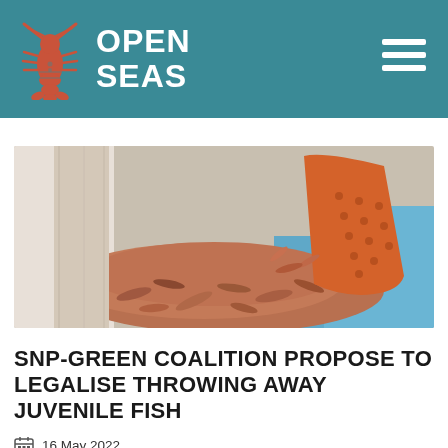OPEN SEAS
[Figure (photo): Close-up photo of a red/orange perforated basket container tipping out a large mass of small juvenile shrimp/shellfish creatures onto a surface, with blue tarpaulin visible in the background.]
SNP-GREEN COALITION PROPOSE TO LEGALISE THROWING AWAY JUVENILE FISH
16 May 2022